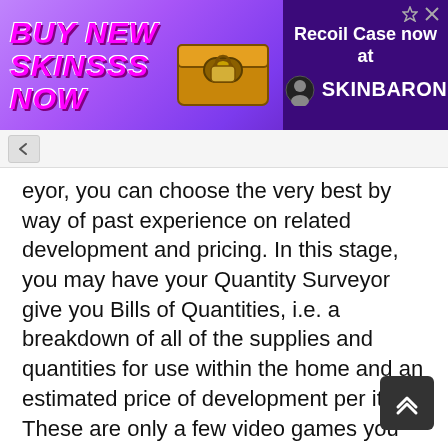[Figure (screenshot): Advertisement banner for SkinBaron featuring 'BUY NEW SKINSSS NOW' text in stylized purple/pink font with a golden loot crate image, and 'Recoil Case now at SKINBARON' text on a dark purple right panel.]
eyor, you can choose the very best by way of past experience on related development and pricing. In this stage, you may have your Quantity Surveyor give you Bills of Quantities, i.e. a breakdown of all of the supplies and quantities for use within the home and an estimated price of development per item. These are only a few video games you can have at your child's bounce house get together.